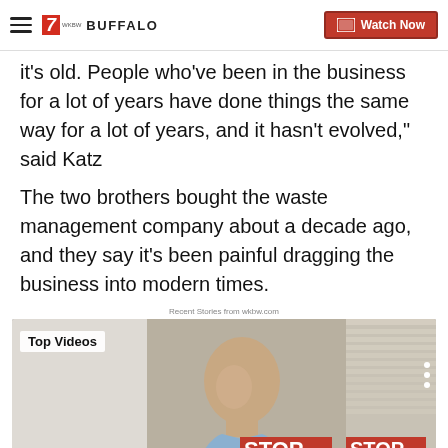7 BUFFALO | Watch Now
it's old. People who've been in the business for a lot of years have done things the same way for a lot of years, and it hasn't evolved," said Katz
The two brothers bought the waste management company about a decade ago, and they say it's been painful dragging the business into modern times.
Recent Stories from wkbw.com
[Figure (screenshot): Top Videos section showing a man speaking at a podium with STOP and NICK LANGWOR(TH) FOR CON(GRESS) campaign signs in the background]